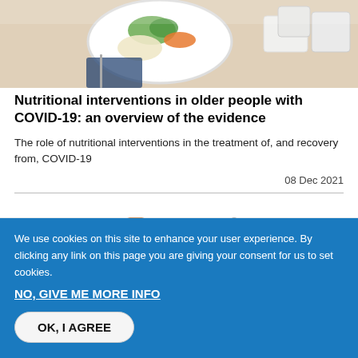[Figure (photo): Photo of a meal plate with vegetables and food containers on a table]
Nutritional interventions in older people with COVID-19: an overview of the evidence
The role of nutritional interventions in the treatment of, and recovery from, COVID-19
08 Dec 2021
[Figure (photo): Photo of a female nurse or healthcare worker smiling near an IV drip stand]
We use cookies on this site to enhance your user experience. By clicking any link on this page you are giving your consent for us to set cookies.
NO, GIVE ME MORE INFO
OK, I AGREE